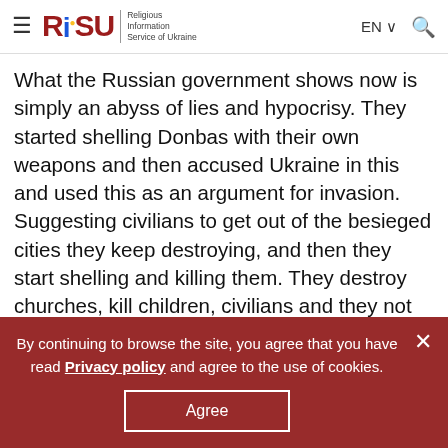RISU - Religious Information Service of Ukraine | EN | Search
What the Russian government shows now is simply an abyss of lies and hypocrisy. They started shelling Donbas with their own weapons and then accused Ukraine in this and used this as an argument for invasion. Suggesting civilians to get out of the besieged cities they keep destroying, and then they start shelling and killing them. They destroy churches, kill children, civilians and they not only lie they do not do this but they strictly prohibit people in Russia telling truth.
By continuing to browse the site, you agree that you have read Privacy policy and agree to the use of cookies. Agree